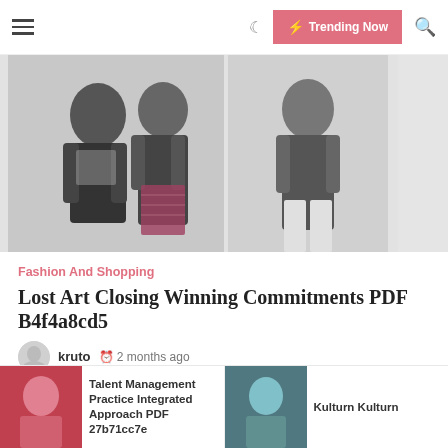☰  🌙  ⚡ Trending Now  🔍
[Figure (photo): Two women in casual/fashion outfits standing outdoors; left woman in black jacket and patterned top, right woman in black top with plaid skirt]
Fashion And Shopping
Lost Art Closing Winning Commitments PDF B4f4a8cd5
kruto  🕐 2 months ago
Read Online and Download Ebook The Lost Art of Closing: Winning the Ten Commitments That Drive Sales. PDF file from our online library
Talent Management Practice Integrated Approach PDF 27b71cc7e
Kulturn Kulturn